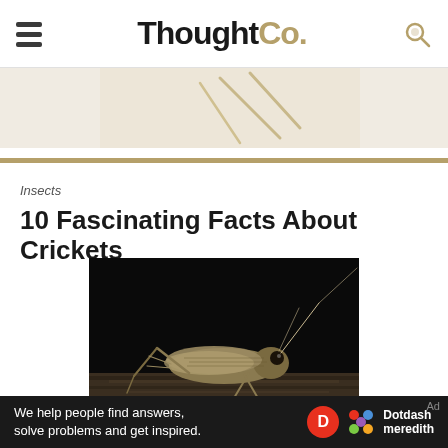ThoughtCo.
[Figure (photo): Partial view of a grasshopper/cricket with legs visible on light background]
Insects
10 Fascinating Facts About Crickets
[Figure (photo): Close-up macro photograph of a cricket on dark background, resting on bark or wood]
We help people find answers, solve problems and get inspired. Dotdash meredith